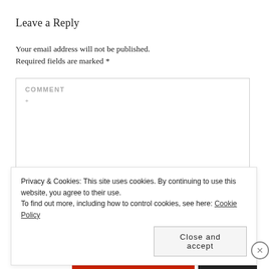Leave a Reply
Your email address will not be published. Required fields are marked *
[Figure (screenshot): Comment text area form field with placeholder label COMMENT and asterisk below]
Privacy & Cookies: This site uses cookies. By continuing to use this website, you agree to their use.
To find out more, including how to control cookies, see here: Cookie Policy
Close and accept
Advertisements